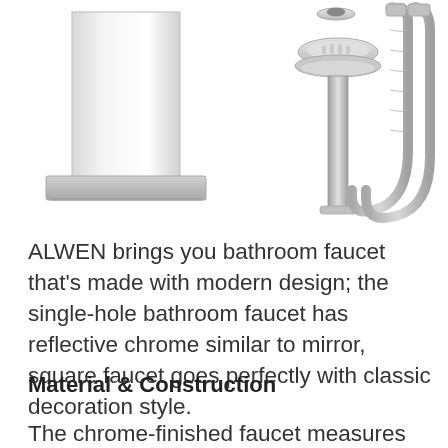[Figure (photo): Product photo showing a chrome square bathroom faucet on the left, and on the right side: a drain assembly (pop-up drain stopper) and a flexible braided hose/supply lines.]
ALWEN brings you bathroom faucet that's made with modern design; the single-hole bathroom faucet has reflective chrome similar to mirror, square faucet goes perfectly with classic decoration style.
Material & Construction
The chrome-finished faucet measures